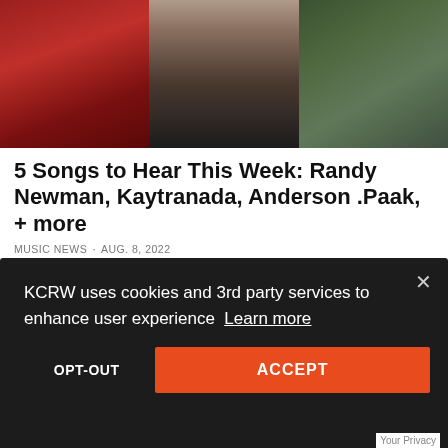[Figure (photo): Three-panel collage photo at top: left panel shows person in red outfit, center panel shows person with brown hair in dark top, right panel shows person in floral/camo jacket]
5 Songs to Hear This Week: Randy Newman, Kaytranada, Anderson .Paak, + more
MUSIC NEWS · AUG. 8, 2022
[Figure (photo): Three-panel collage photo at bottom: left panel shows dark concert scene with purple light, center panel shows dark background with circular logo/text, right panel shows person in white jacket]
KCRW uses cookies and 3rd party services to enhance user experience  Learn more
OPT-OUT
ACCEPT
Your Privacy